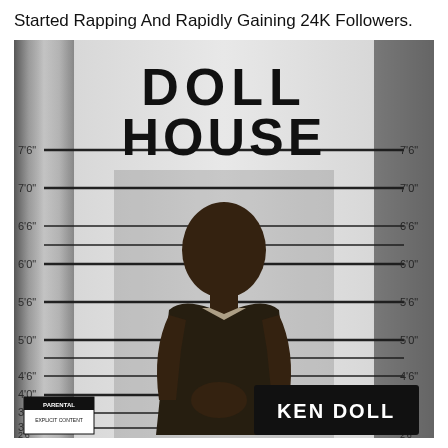Started Rapping And Rapidly Gaining 24K Followers.
[Figure (photo): Album cover for 'Doll House' by Ken Doll. A young black man in a dark vest stands in front of a police lineup height chart background. The words 'DOLL HOUSE' appear in large bold letters at the top. The subject holds a sign reading 'KEN DOLL' at the bottom right. A Parental Advisory Explicit Content sticker is visible at the bottom left. Height markers from 2'6" to 7'6" are visible on both sides of the background.]